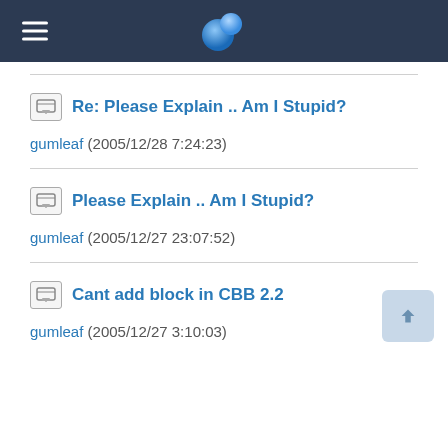Navigation header with hamburger menu and logo
Re: Please Explain .. Am I Stupid?
gumleaf (2005/12/28 7:24:23)
Please Explain .. Am I Stupid?
gumleaf (2005/12/27 23:07:52)
Cant add block in CBB 2.2
gumleaf (2005/12/27 3:10:03)